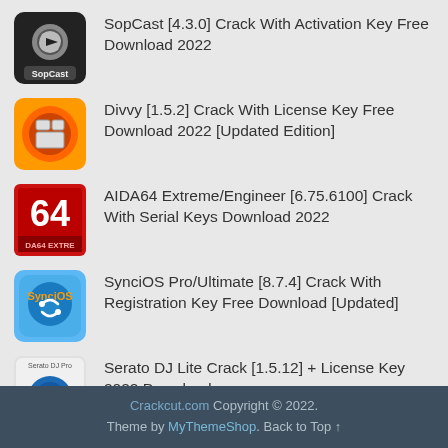SopCast [4.3.0] Crack With Activation Key Free Download 2022
Divvy [1.5.2] Crack With License Key Free Download 2022 [Updated Edition]
AIDA64 Extreme/Engineer [6.75.6100] Crack With Serial Keys Download 2022
SynciOS Pro/Ultimate [8.7.4] Crack With Registration Key Free Download [Updated]
Serato DJ Lite Crack [1.5.12] + License Key 2022 Download
Crackcut.com Copyright © 2022. Theme by MyThemeShop. Back to Top ↑